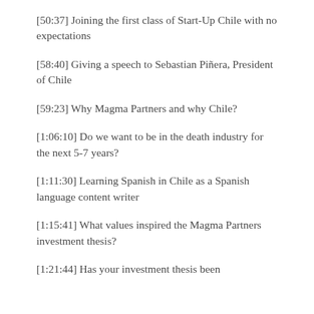[50:37] Joining the first class of Start-Up Chile with no expectations
[58:40] Giving a speech to Sebastian Piñera, President of Chile
[59:23] Why Magma Partners and why Chile?
[1:06:10] Do we want to be in the death industry for the next 5-7 years?
[1:11:30] Learning Spanish in Chile as a Spanish language content writer
[1:15:41] What values inspired the Magma Partners investment thesis?
[1:21:44] Has your investment thesis been